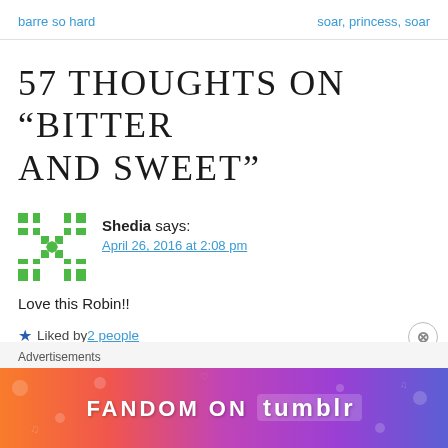barre so hard    soar, princess, soar
57 Thoughts on “Bitter and Sweet”
Shedia says:
April 26, 2016 at 2:08 pm
Love this Robin!!
Liked by 2 people
Advertisements
[Figure (illustration): Fandom on Tumblr advertisement banner with colorful gradient background from orange to purple with white text]